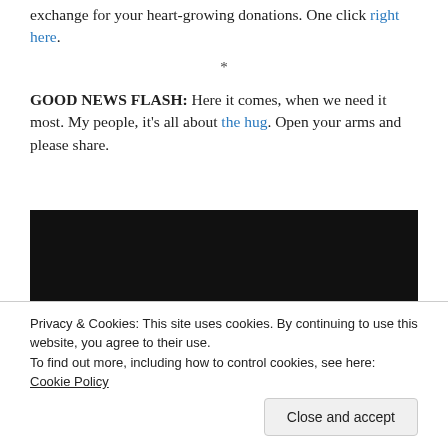exchange for your heart-growing donations. One click right here.
*
GOOD NEWS FLASH: Here it comes, when we need it most. My people, it's all about the hug. Open your arms and please share.
[Figure (photo): A dark/black rectangular image block, likely a video embed or photo placeholder.]
Privacy & Cookies: This site uses cookies. By continuing to use this website, you agree to their use. To find out more, including how to control cookies, see here: Cookie Policy